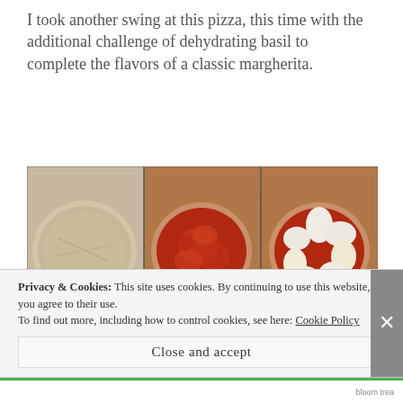I took another swing at this pizza, this time with the additional challenge of dehydrating basil to complete the flavors of a classic margherita.
[Figure (photo): 6-panel photo grid showing pizza preparation steps: top-left shows raw dough, top-center shows dough with tomato sauce, top-right shows pizza with mozzarella slices arranged in a flower pattern, bottom-left shows baked pizza close-up, bottom-center shows baked pizza with red peppers and basil, bottom-right shows finished pizza with basil leaves and red peppers.]
Privacy & Cookies: This site uses cookies. By continuing to use this website, you agree to their use.
To find out more, including how to control cookies, see here: Cookie Policy
Close and accept